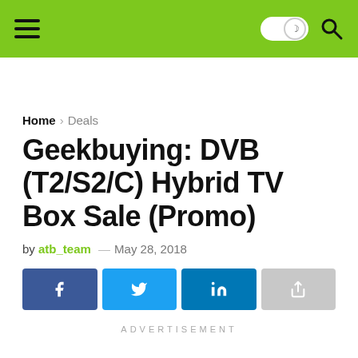Navigation bar with hamburger menu, dark mode toggle, and search icon
Home › Deals
Geekbuying: DVB (T2/S2/C) Hybrid TV Box Sale (Promo)
by atb_team — May 28, 2018
[Figure (other): Social share buttons: Facebook, Twitter, LinkedIn, and a generic share button]
ADVERTISEMENT